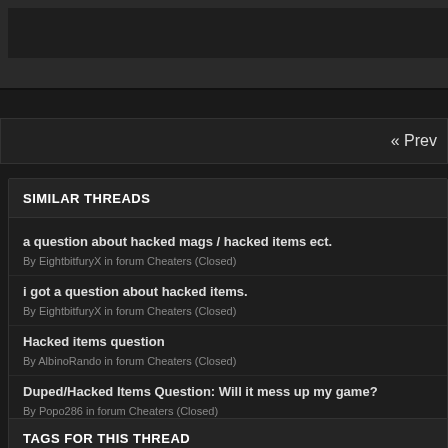SIMILAR THREADS
a question about hacked mags / hacked items ect.
By EightbitfuryX in forum Cheaters (Closed)
i got a question about hacked items.
By EightbitfuryX in forum Cheaters (Closed)
Hacked items question
By AlbinoRando in forum Cheaters (Closed)
Duped/Hacked Items Question: Will it mess up my game?
By Popo286 in forum Cheaters (Closed)
Question Concerning Various Force Items
By Arinoma in forum PSO: Mag, Quest, Item and Section ID
TAGS FOR THIS THREAD